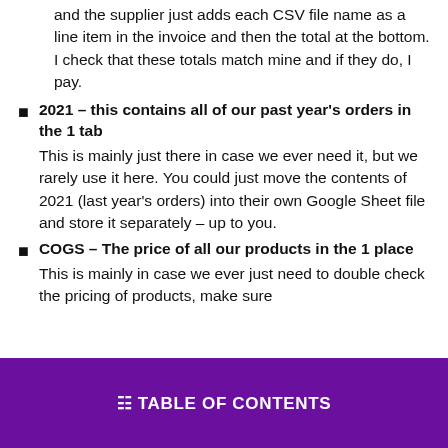and the supplier just adds each CSV file name as a line item in the invoice and then the total at the bottom. I check that these totals match mine and if they do, I pay.
2021 – this contains all of our past year's orders in the 1 tab
This is mainly just there in case we ever need it, but we rarely use it here. You could just move the contents of 2021 (last year's orders) into their own Google Sheet file and store it separately – up to you.
COGS – The price of all our products in the 1 place
This is mainly in case we ever just need to double check the pricing of products, make sure
☰ TABLE OF CONTENTS